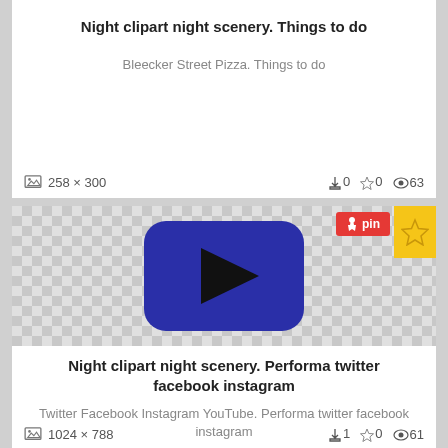Night clipart night scenery. Things to do
Bleecker Street Pizza. Things to do
258 x 300   ↓0  ☆0  👁63
[Figure (screenshot): Checkered background with YouTube-style blue rounded rectangle play button icon in center. Red 'pin' button top right, yellow star button far right.]
Night clipart night scenery. Performa twitter facebook instagram
Twitter Facebook Instagram YouTube. Performa twitter facebook instagram
1024 x 788   ↓1  ☆0  👁61